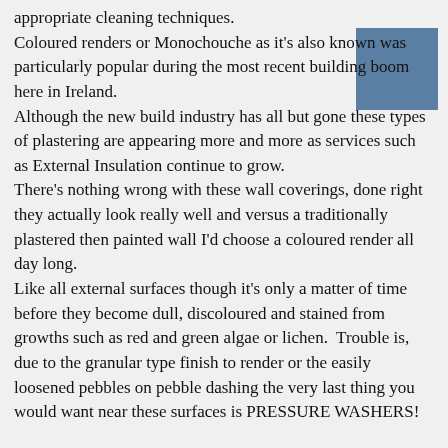appropriate cleaning techniques. Coloured renders or Monochouche as it's also known was particularly popular during the most recent building boom here in Ireland. Although the new build industry has all but gone these types of plastering are appearing more and more as services such as External Insulation continue to grow. There's nothing wrong with these wall coverings, done right they actually look really well and versus a traditionally plastered then painted wall I'd choose a coloured render all day long. Like all external surfaces though it's only a matter of time before they become dull, discoloured and stained from growths such as red and green algae or lichen. Trouble is, due to the granular type finish to render or the easily loosened pebbles on pebble dashing the very last thing you would want near these surfaces is PRESSURE WASHERS!
[Figure (other): A solid blue-grey square in the upper right corner of the page.]